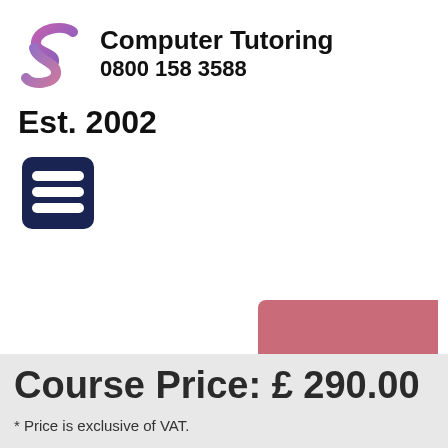[Figure (logo): Computer Tutoring logo with stylized S shape in purple/pink gradient, company name and phone number]
Est. 2002
[Figure (illustration): Dark navy blue hamburger menu icon with three rounded horizontal bars]
[Figure (other): Pink/rose colored button (partially visible, no text)]
[Figure (other): Light blue button labeled Course Search]
Course Price: £ 290.00
* Price is exclusive of VAT.